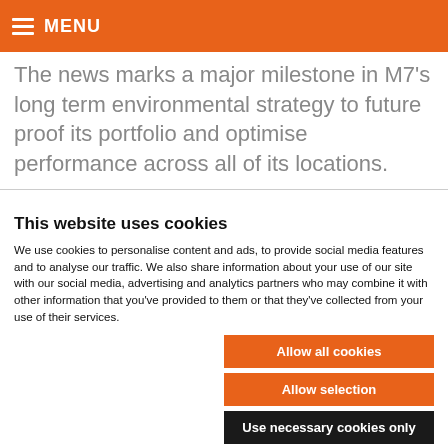MENU
The news marks a major milestone in M7's long term environmental strategy to future proof its portfolio and optimise performance across all of its locations.
This website uses cookies
We use cookies to personalise content and ads, to provide social media features and to analyse our traffic. We also share information about your use of our site with our social media, advertising and analytics partners who may combine it with other information that you've provided to them or that they've collected from your use of their services.
Allow all cookies
Allow selection
Use necessary cookies only
Necessary  Preferences  Statistics  Marketing  Show details